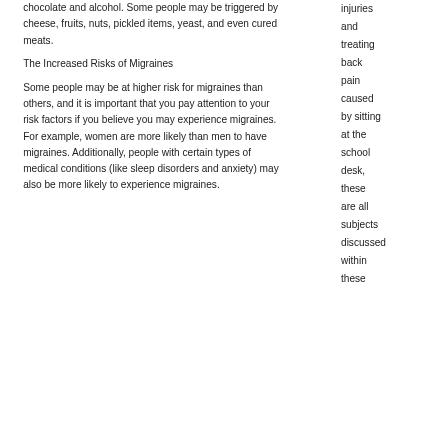chocolate and alcohol. Some people may be triggered by cheese, fruits, nuts, pickled items, yeast, and even cured meats.
The Increased Risks of Migraines
Some people may be at higher risk for migraines than others, and it is important that you pay attention to your risk factors if you believe you may experience migraines. For example, women are more likely than men to have migraines. Additionally, people with certain types of medical conditions (like sleep disorders and anxiety) may also be more likely to experience migraines.
injuries and treating back pain caused by sitting at the school desk, these are all subjects discussed within these